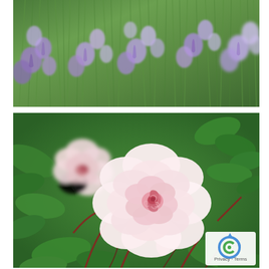[Figure (photo): Photograph of purple/lavender bluebell flowers growing among green grass stems, viewed from above. Soft purple bell-shaped flowers scattered throughout green grassy foliage.]
[Figure (photo): Close-up photograph of two pink roses in bloom surrounded by green leaves and reddish stems. The foreground rose is fully open showing a white-pink swirling center with red-pink tones. A second smaller rose is visible in the upper-left, slightly blurred. Lower right corner contains a Google reCAPTCHA privacy badge with 'Privacy · Terms' text.]